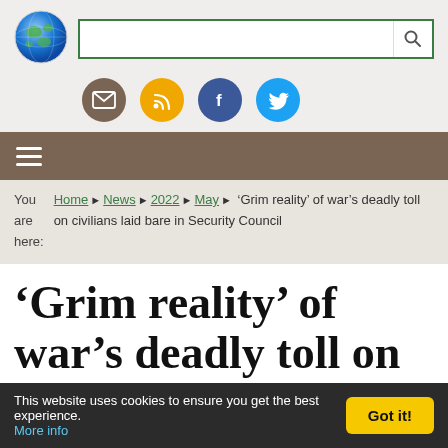[Figure (logo): Globe icon logo in top-left of header]
[Figure (screenshot): Search bar with green border and magnifying glass icon]
[Figure (infographic): Social media icon circles: email (brown), RSS (orange), Facebook (blue), Twitter (light blue)]
[Figure (screenshot): Dark brown navigation bar with hamburger menu icon (three horizontal lines)]
You are here:
Home ▶ News ▶ 2022 ▶ May ▶ 'Grim reality' of war's deadly toll on civilians laid bare in Security Council
'Grim reality' of war's deadly toll on civilians laid bare in Security Council
This website uses cookies to ensure you get the best experience. More info